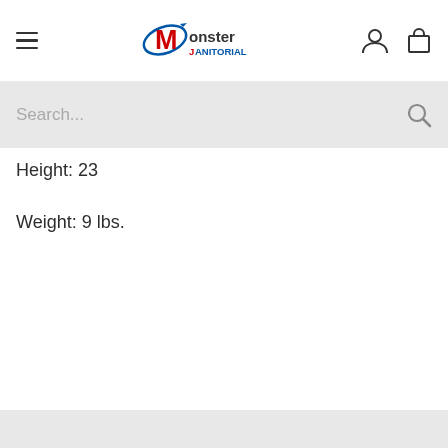Monster Janitorial — Navigation header with hamburger menu, logo, user icon, cart icon, and search bar
Height: 23
Weight: 9 lbs.